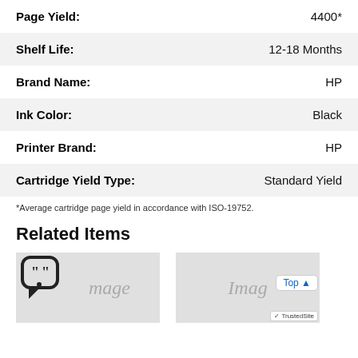| Attribute | Value |
| --- | --- |
| Page Yield: | 4400* |
| Shelf Life: | 12-18 Months |
| Brand Name: | HP |
| Ink Color: | Black |
| Printer Brand: | HP |
| Cartridge Yield Type: | Standard Yield |
*Average cartridge page yield in accordance with ISO-19752.
Related Items
[Figure (photo): Related product image placeholder (left) with chat/review icon overlay]
[Figure (photo): Related product image placeholder (right) with Top button overlay and TrustedSite badge]